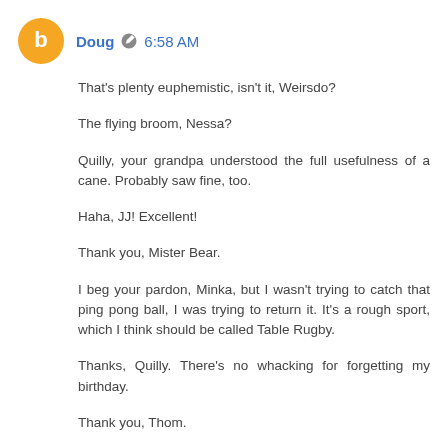Doug 6:58 AM
That's plenty euphemistic, isn't it, Weirsdo?
The flying broom, Nessa?
Quilly, your grandpa understood the full usefulness of a cane. Probably saw fine, too.
Haha, JJ! Excellent!
Thank you, Mister Bear.
I beg your pardon, Minka, but I wasn't trying to catch that ping pong ball, I was trying to return it. It's a rough sport, which I think should be called Table Rugby.
Thanks, Quilly. There's no whacking for forgetting my birthday.
Thank you, Thom.